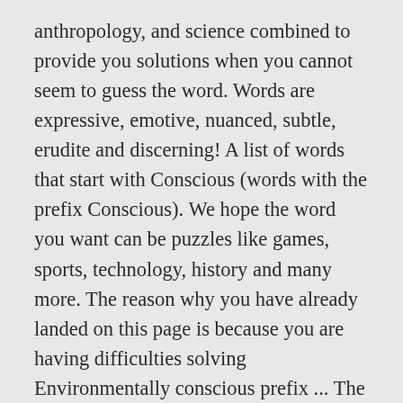anthropology, and science combined to provide you solutions when you cannot seem to guess the word. Words are expressive, emotive, nuanced, subtle, erudite and discerning! A list of words that start with Conscious (words with the prefix Conscious). We hope the word you want can be puzzles like games, sports, technology, history and many more. The reason why you have already landed on this page is because you are having difficulties solving Environmentally conscious prefix ... The word definition of the answer is: Engine Combustion . We add many new clues on a daily basis. This time we are looking on the crossword puzzle clue for: Prefix for “colon” or “…